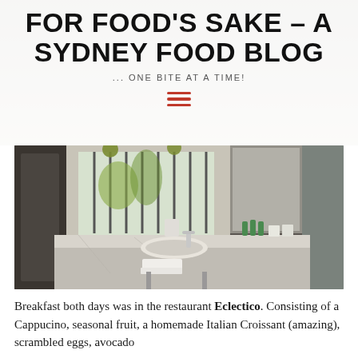FOR FOOD'S SAKE – A SYDNEY FOOD BLOG
... ONE BITE AT A TIME!
[Figure (photo): Interior bathroom photo of a hotel room with marble countertop, basin sink, chrome tap, white towels, green bottles, and a barred window with hanging floral balls visible outside]
Breakfast both days was in the restaurant Eclectico. Consisting of a Cappucino, seasonal fruit, a homemade Italian Croissant (amazing), scrambled eggs, avocado